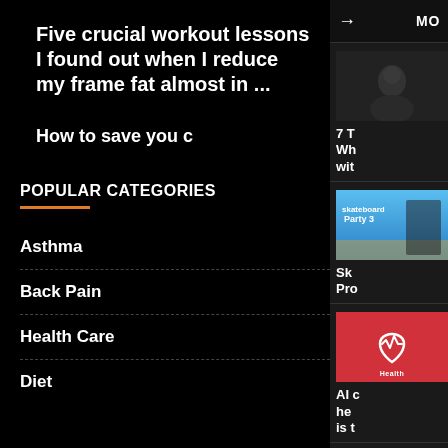Five crucial workout lessons I found out when I reduce my frame fat almost in ...
How to save you c
POPULAR CATEGORIES
Asthma
Back Pain
Health Care
Diet
→  MO
[Figure (photo): Person sitting in dark, black and white photo]
7 T Wh wit
[Figure (photo): Skateboard Party 3 game cover with skater]
Sk Pro
[Figure (illustration): Red health icon with heartbeat symbol and text Health]
AI c he is t treatment the